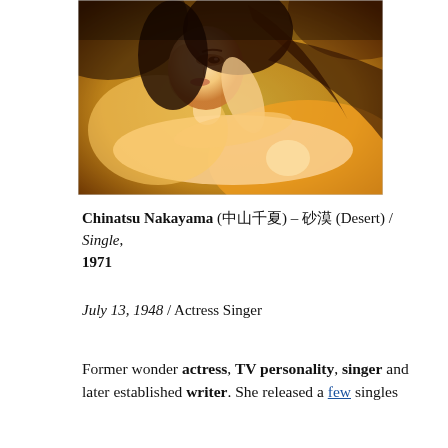[Figure (photo): Sepia-toned/warm amber-filtered portrait photo of a woman (Chinatsu Nakayama) reclining with her head resting on her arm, long hair, looking upward, dramatic warm yellow-orange tones.]
Chinatsu Nakayama (中山千夏) – 砂漠 (Desert) / Single, 1971
July 13, 1948 / Actress Singer
Former wonder actress, TV personality, singer and later established writer. She released a few singles